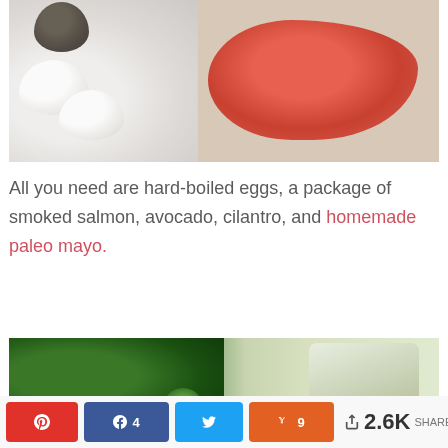[Figure (photo): Photo of hard-boiled eggs, an avocado, and slices of smoked salmon on a white cutting board]
All you need are hard-boiled eggs, a package of smoked salmon, avocado, cilantro, and homemade paleo mayo.
[Figure (photo): Photo of fresh cilantro herb and a jar of homemade paleo mayo]
[Figure (infographic): Social sharing bar with Pinterest, Facebook, Twitter, Yummly buttons and 2.6K shares count]